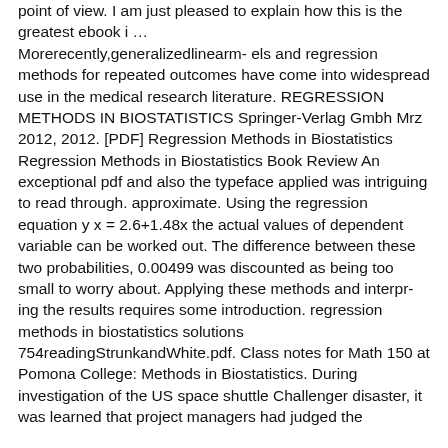point of view. I am just pleased to explain how this is the greatest ebook i … Morerecently,generalizedlinearm- els and regression methods for repeated outcomes have come into widespread use in the medical research literature. REGRESSION METHODS IN BIOSTATISTICS Springer-Verlag Gmbh Mrz 2012, 2012. [PDF] Regression Methods in Biostatistics Regression Methods in Biostatistics Book Review An exceptional pdf and also the typeface applied was intriguing to read through. approximate. Using the regression equation y x = 2.6+1.48x the actual values of dependent variable can be worked out. The difference between these two probabilities, 0.00499 was discounted as being too small to worry about. Applying these methods and interpr- ing the results requires some introduction. regression methods in biostatistics solutions 754readingStrunkandWhite.pdf. Class notes for Math 150 at Pomona College: Methods in Biostatistics. During investigation of the US space shuttle Challenger disaster, it was learned that project managers had judged the